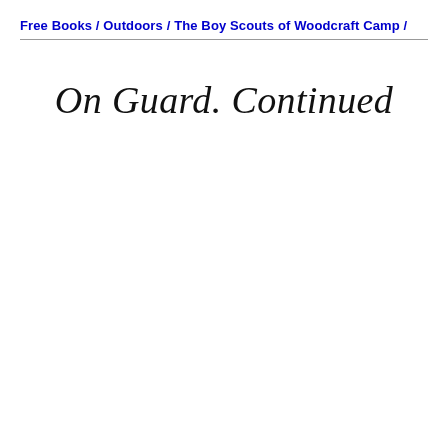Free Books / Outdoors / The Boy Scouts of Woodcraft Camp /
On Guard. Continued